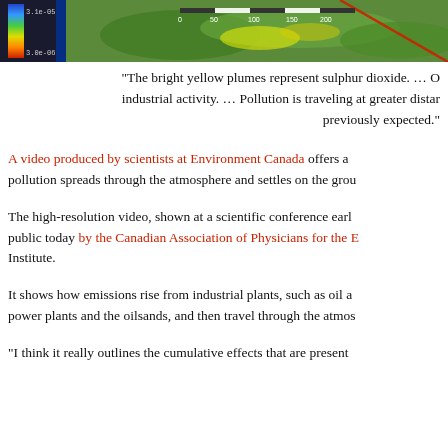[Figure (photo): Partial satellite or scientific visualization image showing sulphur dioxide plumes over terrain, with a color scale bar showing values from 3.0e-06 to 3.1e-05, and a distance scale bar.]
“The bright yellow plumes represent sulphur dioxide. … O[range represents] industrial activity. … Pollution is traveling at greater distan[ces than] previously expected.”
A video produced by scientists at Environment Canada offers a [visualization of how] pollution spreads through the atmosphere and settles on the grou[nd.]
The high-resolution video, shown at a scientific conference earl[ier this year, was released to the] public today by the Canadian Association of Physicians for the [Environment and the Pembina] Institute.
It shows how emissions rise from industrial plants, such as oil a[nd gas facilities,] power plants and the oilsands, and then travel through the atmos[phere.]
“I think it really outlines the cumulative effects that are present[ed by the oilsands development.”]